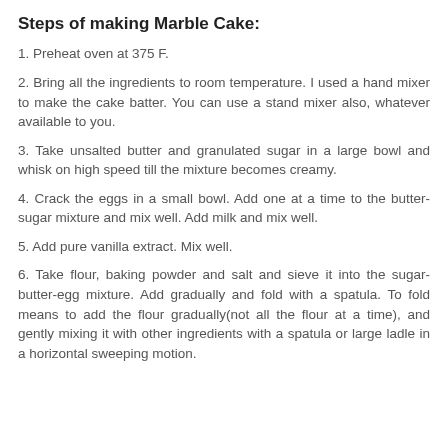Steps of making Marble Cake:
1. Preheat oven at 375 F.
2. Bring all the ingredients to room temperature. I used a hand mixer to make the cake batter. You can use a stand mixer also, whatever available to you.
3. Take unsalted butter and granulated sugar in a large bowl and whisk on high speed till the mixture becomes creamy.
4. Crack the eggs in a small bowl. Add one at a time to the butter-sugar mixture and mix well. Add milk and mix well.
5. Add pure vanilla extract. Mix well.
6. Take flour, baking powder and salt and sieve it into the sugar-butter-egg mixture. Add gradually and fold with a spatula. To fold means to add the flour gradually(not all the flour at a time), and gently mixing it with other ingredients with a spatula or large ladle in a horizontal sweeping motion.